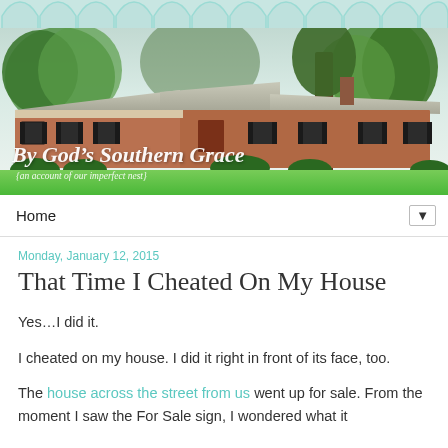[Figure (photo): Blog header banner with watercolor-style photo of a brick ranch house with green lawn and trees, overlaid with decorative teal arch pattern at top and blog title text 'By God's Southern Grace' and subtitle '{an account of our imperfect nest}']
Home ▼
Monday, January 12, 2015
That Time I Cheated On My House
Yes…I did it.
I cheated on my house. I did it right in front of its face, too.
The house across the street from us went up for sale. From the moment I saw the For Sale sign, I wondered what it